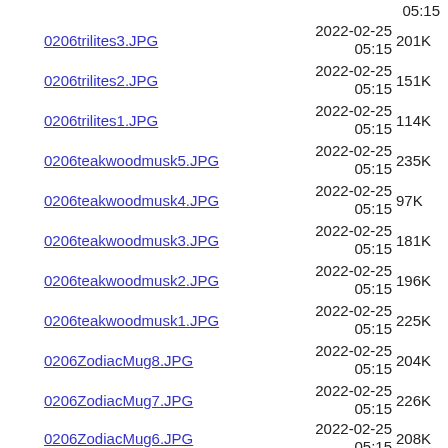05:15
0206trilites3.JPG 2022-02-25 05:15 201K
0206trilites2.JPG 2022-02-25 05:15 151K
0206trilites1.JPG 2022-02-25 05:15 114K
0206teakwoodmusk5.JPG 2022-02-25 05:15 235K
0206teakwoodmusk4.JPG 2022-02-25 05:15 97K
0206teakwoodmusk3.JPG 2022-02-25 05:15 181K
0206teakwoodmusk2.JPG 2022-02-25 05:15 196K
0206teakwoodmusk1.JPG 2022-02-25 05:15 225K
0206ZodiacMug8.JPG 2022-02-25 05:15 204K
0206ZodiacMug7.JPG 2022-02-25 05:15 226K
0206ZodiacMug6.JPG 2022-02-25 05:15 208K